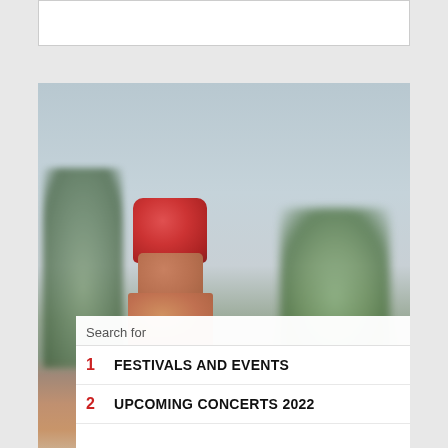[Figure (other): White rectangle box at top, appears to be an advertisement or content placeholder area]
[Figure (photo): Photo of a sauce/condiment bottle with a red cap, set against a light blue-grey background with blurry green plants on left and right sides. The bottle appears to contain an orange-brown sauce.]
Search for
1  FESTIVALS AND EVENTS
2  UPCOMING CONCERTS 2022